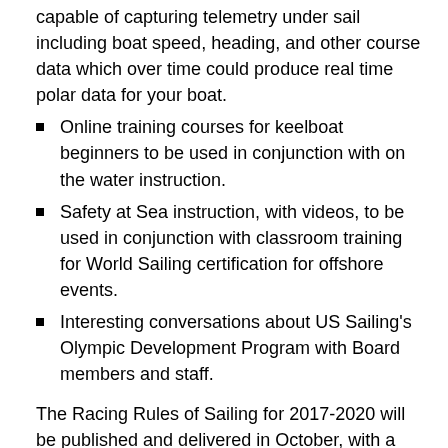capable of capturing telemetry under sail including boat speed, heading, and other course data which over time could produce real time polar data for your boat.
Online training courses for keelboat beginners to be used in conjunction with on the water instruction.
Safety at Sea instruction, with videos, to be used in conjunction with classroom training for World Sailing certification for offshore events.
Interesting conversations about US Sailing's Olympic Development Program with Board members and staff.
The Racing Rules of Sailing for 2017-2020 will be published and delivered in October, with a new mobile app available in the same time line. Dave Perry and Brad Dellenbaugh are here in San Diego. I've talked to Brad in hopes of arranging a rules seminar in Maine this spring.